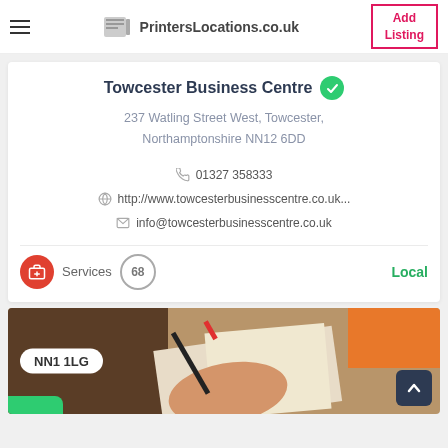PrintersLocations.co.uk | Add Listing
Towcester Business Centre
237 Watling Street West, Towcester, Northamptonshire NN12 6DD
01327 358333
http://www.towcesterbusinesscentre.co.uk...
info@towcesterbusinesscentre.co.uk
Services 68 Local
[Figure (photo): Hand holding a pen writing on paper, with NN1 1LG postcode badge overlay]